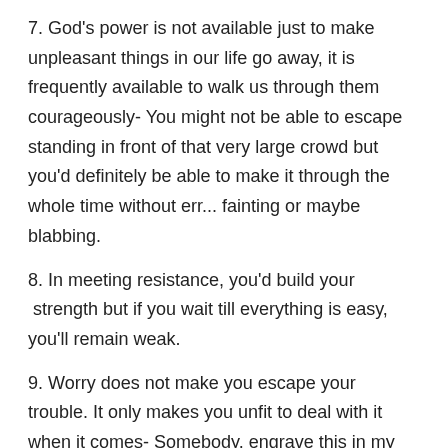7. God's power is not available just to make unpleasant things in our life go away, it is frequently available to walk us through them courageously- You might not be able to escape standing in front of that very large crowd but you'd definitely be able to make it through the whole time without err... fainting or maybe blabbing.
8. In meeting resistance, you'd build your  strength but if you wait till everything is easy, you'll remain weak.
9. Worry does not make you escape your trouble. It only makes you unfit to deal with it when it comes- Somebody, engrave this in my head, pleaseee!!!
10. Trial and error is the road to success, and you can't drive that